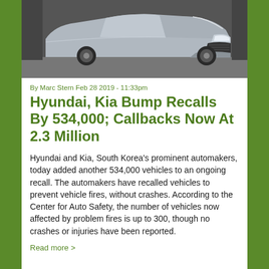[Figure (photo): Front view of a Hyundai/Kia SUV vehicle photographed in a parking or studio setting, showing the front grille, headlights, and hood.]
By Marc Stern Feb 28 2019 - 11:33pm
Hyundai, Kia Bump Recalls By 534,000; Callbacks Now At 2.3 Million
Hyundai and Kia, South Korea's prominent automakers, today added another 534,000 vehicles to an ongoing recall. The automakers have recalled vehicles to prevent vehicle fires, without crashes. According to the Center for Auto Safety, the number of vehicles now affected by problem fires is up to 300, though no crashes or injuries have been reported.
Read more >